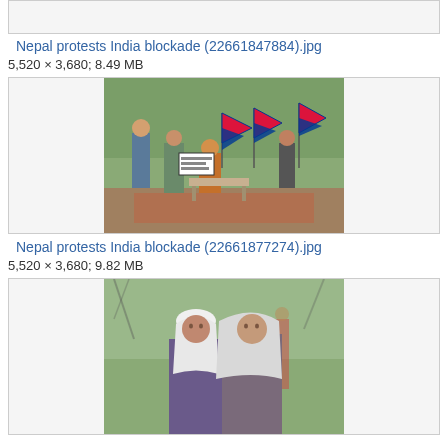[Figure (other): Top partial thumb box (cropped, empty gray box at top of page)]
Nepal protests India blockade (22661847884).jpg
5,520 × 3,680; 8.49 MB
[Figure (photo): Protest scene with people holding Nepali flags and signs in a park setting]
Nepal protests India blockade (22661877274).jpg
5,520 × 3,680; 9.82 MB
[Figure (photo): Two women wearing headscarves at an outdoor protest event]